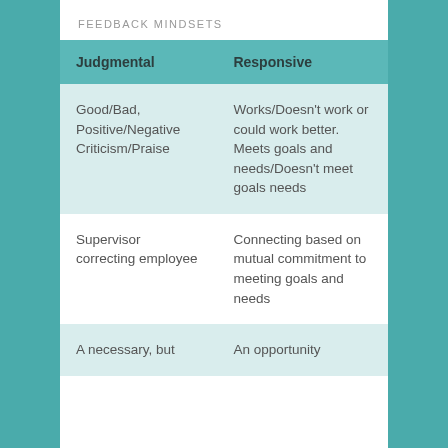FEEDBACK MINDSETS
| Judgmental | Responsive |
| --- | --- |
| Good/Bad, Positive/Negative Criticism/Praise | Works/Doesn't work or could work better. Meets goals and needs/Doesn't meet goals needs |
| Supervisor correcting employee | Connecting based on mutual commitment to meeting goals and needs |
| A necessary, but | An opportunity |